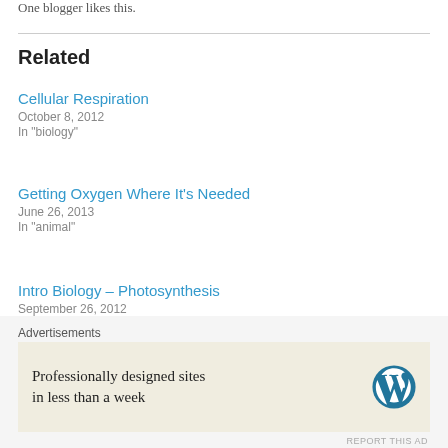One blogger likes this.
Related
Cellular Respiration
October 8, 2012
In "biology"
Getting Oxygen Where It's Needed
June 26, 2013
In "animal"
Intro Biology – Photosynthesis
September 26, 2012
In "autotroph"
October 5, 2013
Advertisements
Professionally designed sites in less than a week